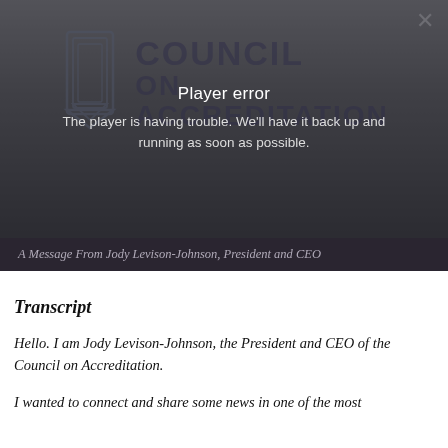[Figure (screenshot): Video player showing Council on Accreditation logo with a player error overlay. Error message reads: 'Player error - The player is having trouble. We'll have it back up and running as soon as possible.' A close button (×) is in the top right corner.]
A Message From Jody Levison-Johnson, President and CEO
Transcript
Hello. I am Jody Levison-Johnson, the President and CEO of the Council on Accreditation.
I wanted to connect and share some news in one of the most